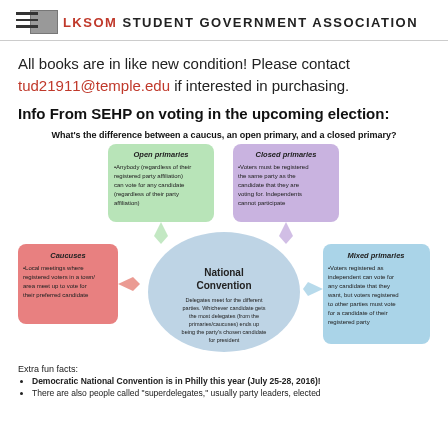LKSOM STUDENT GOVERNMENT ASSOCIATION
All books are in like new condition! Please contact tud21911@temple.edu if interested in purchasing.
Info From SEHP on voting in the upcoming election:
[Figure (infographic): Diagram showing the difference between a caucus, an open primary, and a closed primary, with arrows pointing to a central 'National Convention' ellipse. Four boxes: Open primaries (green), Closed primaries (purple), Caucuses (red/pink), Mixed primaries (blue). Center ellipse describes National Convention. Question at top: What's the difference between a caucus, an open primary, and a closed primary?]
Extra fun facts:
Democratic National Convention is in Philly this year (July 25-28, 2016)!
There are also people called "superdelegates," usually party leaders, elected